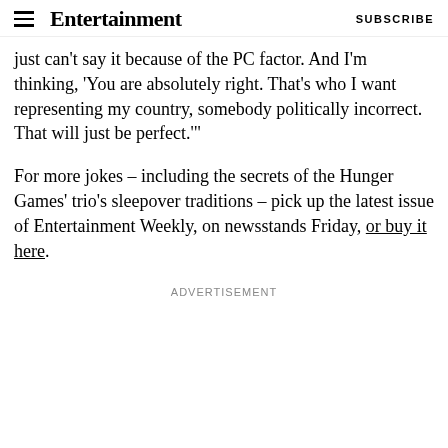Entertainment Weekly | SUBSCRIBE
just can't say it because of the PC factor. And I'm thinking, 'You are absolutely right. That's who I want representing my country, somebody politically incorrect. That will just be perfect.'"
For more jokes – including the secrets of the Hunger Games' trio's sleepover traditions – pick up the latest issue of Entertainment Weekly, on newsstands Friday, or buy it here.
ADVERTISEMENT